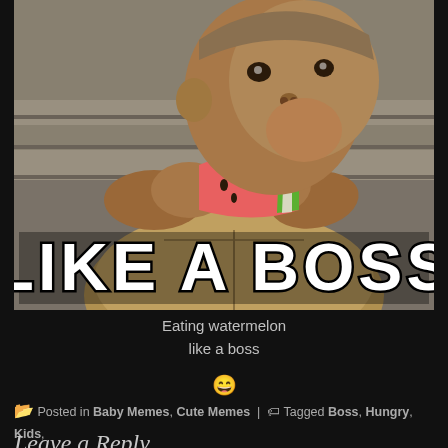[Figure (photo): A baby/toddler eating a slice of watermelon with both hands, wearing a beige/tan jacket. Large meme text 'LIKE A BOSS' overlaid at the bottom of the photo.]
Eating watermelon
like a boss
😄
Posted in Baby Memes, Cute Memes | Tagged Boss, Hungry, Kids, Nom Nom, Watermelon
Leave a Reply